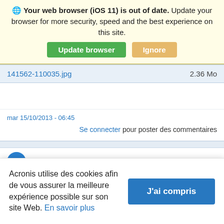Your web browser (iOS 11) is out of date. Update your browser for more security, speed and the best experience on this site.
Update browser | Ignore
141562-110035.jpg    2.36 Mo
mar 15/10/2013 - 06:45
Se connecter pour poster des commentaires
Mark Wharton
Acronis utilise des cookies afin de vous assurer la meilleure expérience possible sur son site Web. En savoir plus
J'ai compris